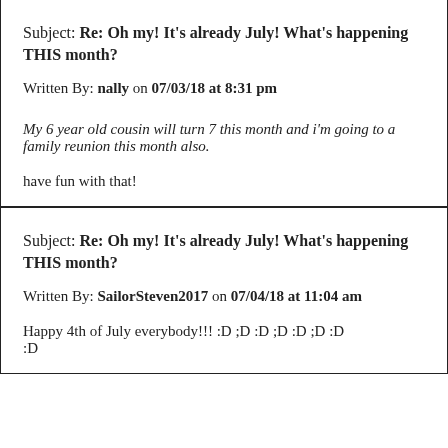Subject: Re: Oh my! It's already July! What's happening THIS month?
Written By: nally on 07/03/18 at 8:31 pm
My 6 year old cousin will turn 7 this month and i'm going to a family reunion this month also.
have fun with that!
Subject: Re: Oh my! It's already July! What's happening THIS month?
Written By: SailorSteven2017 on 07/04/18 at 11:04 am
Happy 4th of July everybody!!!  :D ;D :D ;D :D ;D :D :D